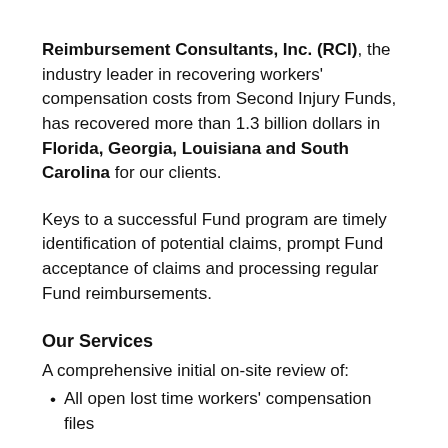Reimbursement Consultants, Inc. (RCI), the industry leader in recovering workers' compensation costs from Second Injury Funds, has recovered more than 1.3 billion dollars in Florida, Georgia, Louisiana and South Carolina for our clients.
Keys to a successful Fund program are timely identification of potential claims, prompt Fund acceptance of claims and processing regular Fund reimbursements.
Our Services
A comprehensive initial on-site review of:
All open lost time workers' compensation files